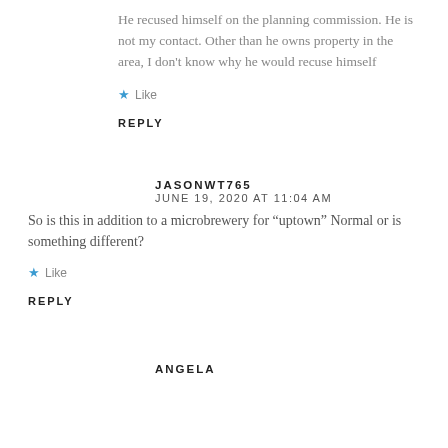He recused himself on the planning commission. He is not my contact. Other than he owns property in the area, I don't know why he would recuse himself
Like
REPLY
JASONWT765
JUNE 19, 2020 AT 11:04 AM
So is this in addition to a microbrewery for “uptown” Normal or is something different?
Like
REPLY
ANGELA